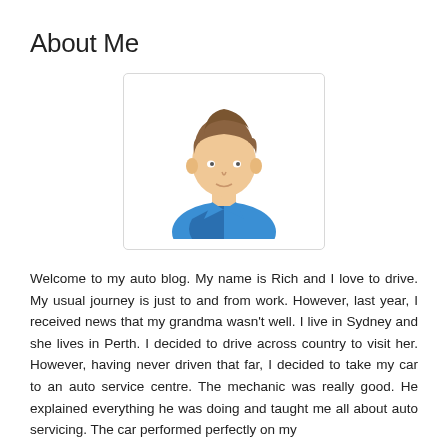About Me
[Figure (illustration): Generic male avatar icon with brown hair and blue shirt, inside a rounded rectangle border]
Welcome to my auto blog. My name is Rich and I love to drive. My usual journey is just to and from work. However, last year, I received news that my grandma wasn't well. I live in Sydney and she lives in Perth. I decided to drive across country to visit her. However, having never driven that far, I decided to take my car to an auto service centre. The mechanic was really good. He explained everything he was doing and taught me all about auto servicing. The car performed perfectly on my